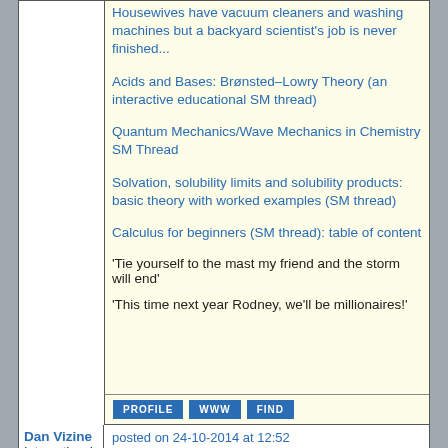Housewives have vacuum cleaners and washing machines but a backyard scientist's job is never finished...
Acids and Bases: Brønsted–Lowry Theory (an interactive educational SM thread)
Quantum Mechanics/Wave Mechanics in Chemistry SM Thread
Solvation, solubility limits and solubility products: basic theory with worked examples (SM thread)
Calculus for beginners (SM thread): table of content
'Tie yourself to the mast my friend and the storm will end'
'This time next year Rodney, we'll be millionaires!'
Dan Vizine
International Hazard
★★★★★
Posts: 628
Registered: 4-4-2014
posted on 24-10-2014 at 12:52
Good point blogfast25.

While CF4 is the only thermodynamically stable C-F compound. There are kinetically "stable" compounds at rt. I just looked it up and PTFE is, in